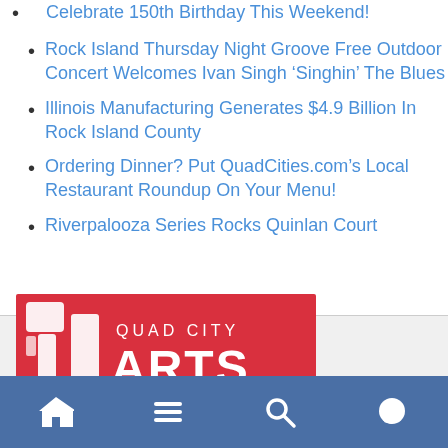Celebrate 150th Birthday This Weekend!
Rock Island Thursday Night Groove Free Outdoor Concert Welcomes Ivan Singh 'Singhin' The Blues
Illinois Manufacturing Generates $4.9 Billion In Rock Island County
Ordering Dinner? Put QuadCities.com's Local Restaurant Roundup On Your Menu!
Riverpalooza Series Rocks Quinlan Court
[Figure (logo): Quad City Arts logo on red background with white abstract shapes and text 'QUAD CITY ARTS']
Home | Menu | Search | Chat navigation bar icons